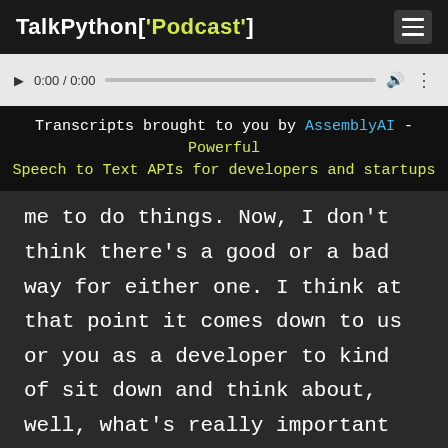TalkPython['Podcast']
[Figure (other): Audio player with play button, time display 0:00 / 0:00, progress bar, volume icon, and more options icon]
Transcripts brought to you by AssemblyAI - Powerful Speech to Text APIs for developers and startups
me to do things. Now, I don't think there's a good or a bad way for either one. I think at that point it comes down to us or you as a developer to kind of sit down and think about, well, what's really important to me, like, how do I really want to build applications.